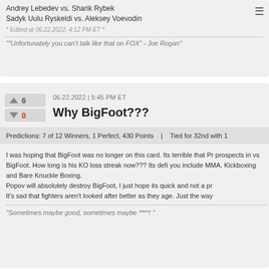Andrey Lebedev vs. Sharik Rybek
Sadyk Uulu Ryskeldi vs. Aleksey Voevodin
* Edited at 06.22.2022, 4:12 PM ET *
""Unfortunately you can't talk like that on FOX" - Joe Rogan"
06.22.2022 | 5:45 PM ET
Why BigFoot???
Predictions: 7 of 12 Winners, 1 Perfect, 430 Points   |   Tied for 32nd with 1
I was hoping that BigFoot was no longer on this card. Its terrible that Pr prospects in vs BigFoot. How long is his KO loss streak now??? Its defi you include MMA, Kickboxing and Bare Knuckle Boxing.
Popov will absolutely destroy BigFoot, I just hope its quick and not a pr
It's sad that fighters aren't looked after better as they age. Just the way
"Sometimes maybe good, sometimes maybe ****! "